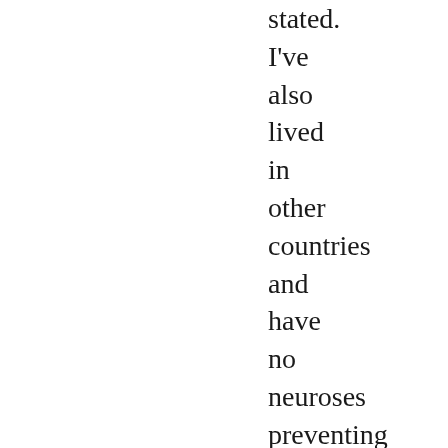stated. I've also lived in other countries and have no neuroses preventing me from objectively comparing them to the US. All other countries call it